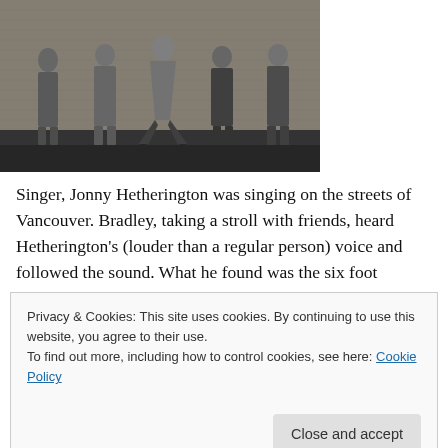[Figure (photo): Black and white photo of five band members posing against a brick wall. Center figure is shirtless with legs spread wide in a rock pose.]
Singer, Jonny Hetherington was singing on the streets of Vancouver. Bradley, taking a stroll with friends, heard Hetherington's (louder than a regular person) voice and followed the sound. What he found was the six foot
Privacy & Cookies: This site uses cookies. By continuing to use this website, you agree to their use.
To find out more, including how to control cookies, see here: Cookie Policy
Close and accept